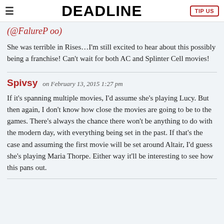≡ DEADLINE TIP US
(@FalureP oo)
She was terrible in Rises…I'm still excited to hear about this possibly being a franchise! Can't wait for both AC and Splinter Cell movies!
Spivsy on February 13, 2015 1:27 pm
If it's spanning multiple movies, I'd assume she's playing Lucy. But then again, I don't know how close the movies are going to be to the games. There's always the chance there won't be anything to do with the modern day, with everything being set in the past. If that's the case and assuming the first movie will be set around Altair, I'd guess she's playing Maria Thorpe. Either way it'll be interesting to see how this pans out.